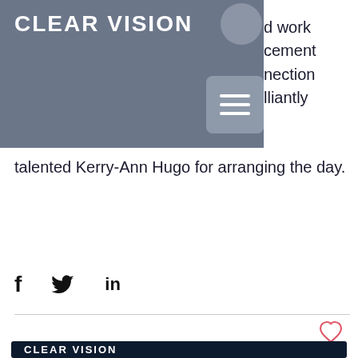[Figure (logo): Clear Vision Research logo on dark grey/blue header overlay, with hamburger menu button]
d work
cement
nection
lliantly talented Kerry-Ann Hugo for arranging the day.
[Figure (infographic): Social share icons: Facebook (f), Twitter bird, LinkedIn (in)]
[Figure (logo): Clear Vision Research footer logo on dark navy background with copyright text: © 2017 by Dr. Riccardo Natoli, ANU.]